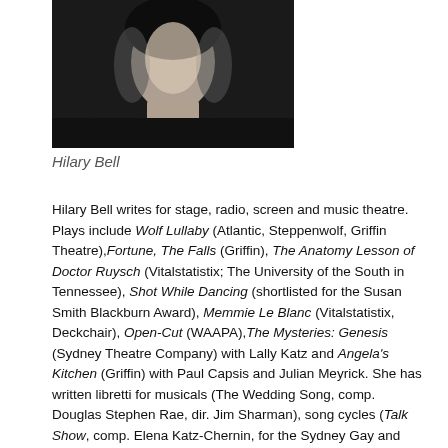[Figure (photo): Black and white headshot photo of Hilary Bell, showing face and upper shoulders against a dark background.]
Hilary Bell
Hilary Bell writes for stage, radio, screen and music theatre. Plays include Wolf Lullaby (Atlantic, Steppenwolf, Griffin Theatre),Fortune, The Falls (Griffin), The Anatomy Lesson of Doctor Ruysch (Vitalstatistix; The University of the South in Tennessee), Shot While Dancing (shortlisted for the Susan Smith Blackburn Award), Memmie Le Blanc (Vitalstatistix, Deckchair), Open-Cut (WAAPA),The Mysteries: Genesis (Sydney Theatre Company) with Lally Katz and Angela's Kitchen (Griffin) with Paul Capsis and Julian Meyrick. She has written libretti for musicals (The Wedding Song, comp. Douglas Stephen Rae, dir. Jim Sharman), song cycles (Talk Show, comp. Elena Katz-Chernin, for the Sydney Gay and Lesbian Choir), opera (Mrs. Satan, comp. Victoria Bond, New York City Opera, and more) and for Phillip Island, and more...